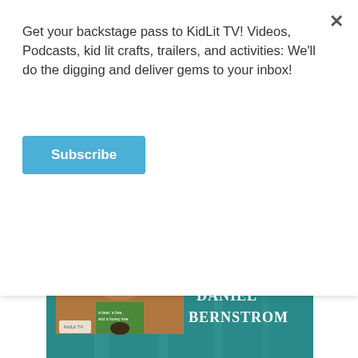Get your backstage pass to KidLit TV! Videos, Podcasts, kid lit crafts, trailers, and activities: We'll do the digging and deliver gems to your inbox!
Subscribe
➡https://kidlit.tv/StoryMakersDanielBernstrom
Astra Books for Young Readers Hippo Park
[Figure (screenshot): StoryMakers thumbnail showing Daniel Bernstrom in a bear costume with a speech bubble saying STORYMAKERS and text DANIEL BERNSTROM on teal background]